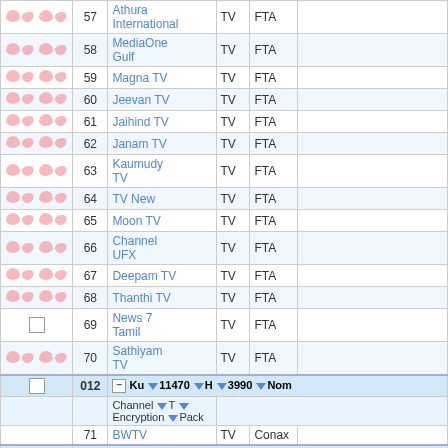|  | No. | Channel | T | Encryption |
| --- | --- | --- | --- | --- |
| icons | 57 | Athura International | TV | FTA |
| icons | 58 | MediaOne Gulf | TV | FTA |
| icons | 59 | Magna TV | TV | FTA |
| icons | 60 | Jeevan TV | TV | FTA |
| icons | 61 | Jaihind TV | TV | FTA |
| icons | 62 | Janam TV | TV | FTA |
| icons | 63 | Kaumudy TV | TV | FTA |
| icons | 64 | TV New | TV | FTA |
| icons | 65 | Moon TV | TV | FTA |
| icons | 66 | Channel UFX | TV | FTA |
| icons | 67 | Deepam TV | TV | FTA |
| icons | 68 | Thanthi TV | TV | FTA |
| checkbox | 69 | News 7 Tamil | TV | FTA |
| icons | 70 | Sathiyam TV | TV | FTA |
| header-012 | 012 | Ku 11470 H 3990 Nom |  |  |
| sub-header |  | Channel T Encryption Pack |  |  |
|  | 71 | BWTV | TV | Conax |
| header-013 | 013 | Ku 11490 V 2151 2/3 |  |  |